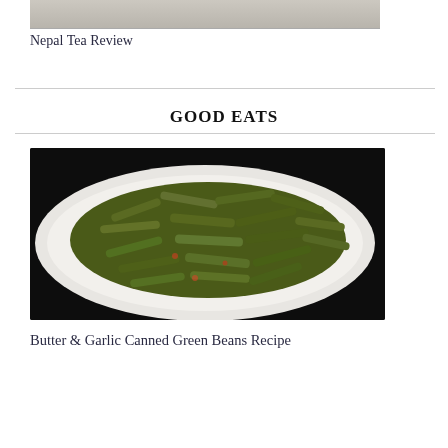[Figure (photo): Top portion of a photo showing a tea-related image, partially cropped at top of page]
Nepal Tea Review
GOOD EATS
[Figure (photo): Photo of Butter & Garlic Canned Green Beans served on a white oval plate against a dark background]
Butter & Garlic Canned Green Beans Recipe